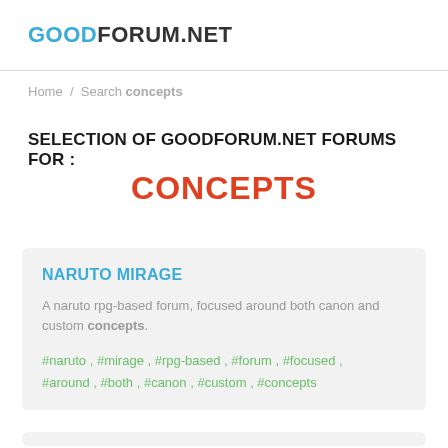GOODFORUM.NET
Home / Search concepts
SELECTION OF GOODFORUM.NET FORUMS FOR :
CONCEPTS
NARUTO MIRAGE
A naruto rpg-based forum, focused around both canon and custom concepts.
#naruto , #mirage , #rpg-based , #forum , #focused , #around , #both , #canon , #custom , #concepts